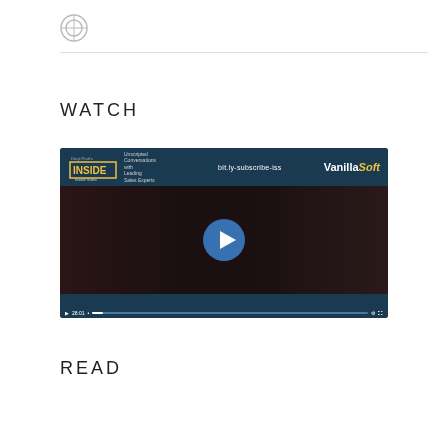[Figure (logo): Small circular logo at top left]
WATCH
[Figure (screenshot): Video player showing Inside Sales show with two hosts, VanillaSoft branding, play button overlay, subtitle text 'I can fall back on this script.', timestamp 28:01]
READ